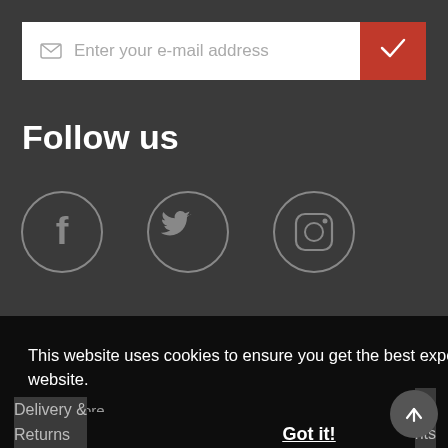[Figure (screenshot): Email subscription input field with envelope icon and placeholder text 'Enter your e-mail address', and a red submit button with a white checkmark]
Follow us
[Figure (infographic): Three social media icon circles in grey outline: Facebook (f), Twitter (bird), Instagram (camera)]
This website uses cookies to ensure you get the best experience on our website. Learn more
Got it!